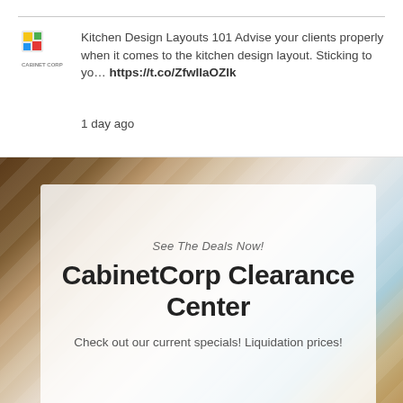Kitchen Design Layouts 101 Advise your clients properly when it comes to the kitchen design layout. Sticking to yo… https://t.co/ZfwIlaOZlk
1 day ago
[Figure (photo): Background photo of kitchen cabinet/wood panels with diagonal stripes in brown, beige, and blue-grey tones. Overlaid with a semi-transparent white card showing promotional text.]
See The Deals Now!
CabinetCorp Clearance Center
Check out our current specials! Liquidation prices!